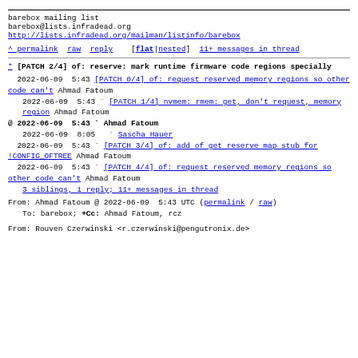barebox mailing list
barebox@lists.infradead.org
http://lists.infradead.org/mailman/listinfo/barebox
^ permalink  raw  reply    [flat|nested]  11+ messages in thread
* [PATCH 2/4] of: reserve: mark runtime firmware code regions specially
2022-06-09  5:43 [PATCH 0/4] of: request reserved memory regions so other code can't Ahmad Fatoum
  2022-06-09  5:43 ` [PATCH 1/4] nvmem: rmem: get, don't request, memory region Ahmad Fatoum
@ 2022-06-09  5:43 ` Ahmad Fatoum
  2022-06-09  8:05   ` Sascha Hauer
  2022-06-09  5:43 ` [PATCH 3/4] of: add of get reserve map stub for !CONFIG_OFTREE Ahmad Fatoum
  2022-06-09  5:43 ` [PATCH 4/4] of: request reserved memory regions so other code can't Ahmad Fatoum
  3 siblings, 1 reply; 11+ messages in thread
From: Ahmad Fatoum @ 2022-06-09  5:43 UTC (permalink / raw)
To: barebox; +Cc: Ahmad Fatoum, rcz
From: Rouven Czerwinski <r.czerwinski@pengutronix.de>